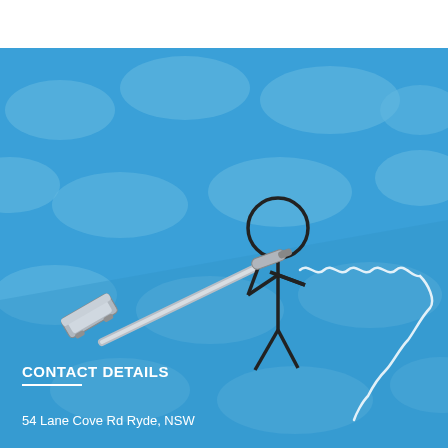[Figure (illustration): Cartoon stick figure person using a carpet cleaning machine on a blue carpet with oval/bubble patterns. The person holds a wand connected to a spiral hose. The carpet has a blue background with lighter blue oval shapes arranged in a repeating pattern.]
CONTACT DETAILS
54 Lane Cove Rd Ryde, NSW